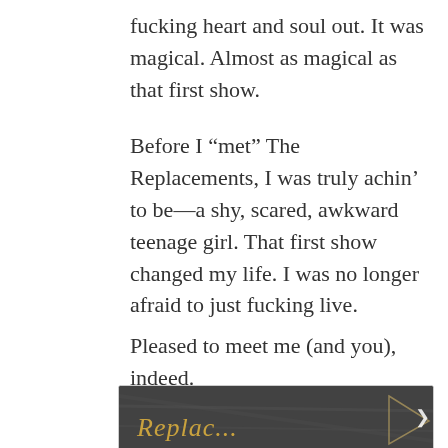fucking heart and soul out. It was magical. Almost as magical as that first show.
Before I “met” The Replacements, I was truly achin’ to be—a shy, scared, awkward teenage girl. That first show changed my life. I was no longer afraid to just fucking live.
Pleased to meet me (and you), indeed.
[Figure (photo): Partial image of graffiti or chalk writing on a dark surface, showing partial text that appears to read 'Replacements' in a cursive/handwritten style in gold/yellow color, with a geometric shape visible on the right side.]